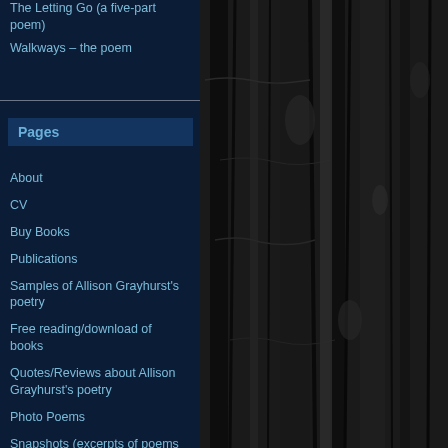[Figure (photo): Dark textured tree bark background photograph, black and white/dark tones]
The Letting Go (a five-part poem)
Walkways – the poem
Pages
About
CV
Buy Books
Publications
Samples of Allison Grayhurst's poetry
Free reading/download of books
Quotes/Reviews about Allison Grayhurst's poetry
Photo Poems
Snapshots (excerpts of poems on images)